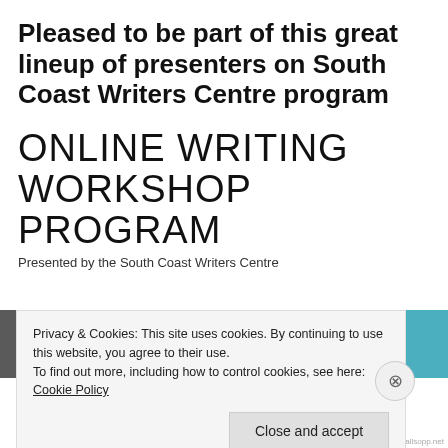Pleased to be part of this great lineup of presenters on South Coast Writers Centre program
ONLINE WRITING WORKSHOP PROGRAM
Presented by the South Coast Writers Centre
[Figure (photo): Black and white photo strip showing faces/headshots of multiple presenters, with a teal/blue panel to the right]
Privacy & Cookies: This site uses cookies. By continuing to use this website, you agree to their use.
To find out more, including how to control cookies, see here: Cookie Policy
Close and accept